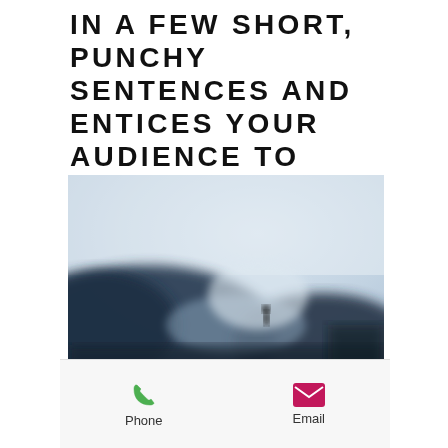IN A FEW SHORT, PUNCHY SENTENCES AND ENTICES YOUR AUDIENCE TO CONTINUE READING.
[Figure (photo): A blurred artistic photograph of a dark mountainous or rocky shape against a misty light background, with a small silhouette figure in the center-right area.]
Phone
Email